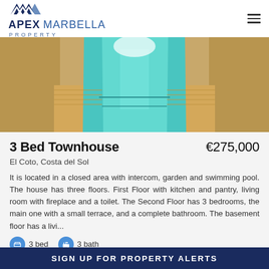[Figure (logo): Apex Marbella Property logo with blue mountain/chevron icon and hamburger menu]
[Figure (photo): Aerial view of an infinity swimming pool surrounded by stone paving and wooden decking]
3 Bed Townhouse   €275,000
El Coto, Costa del Sol
It is located in a closed area with intercom, garden and swimming pool. The house has three floors. First Floor with kitchen and pantry, living room with fireplace and a toilet. The Second Floor has 3 bedrooms, the main one with a small terrace, and a complete bathroom. The basement floor has a livi...
3 bed   3 bath
SIGN UP FOR PROPERTY ALERTS